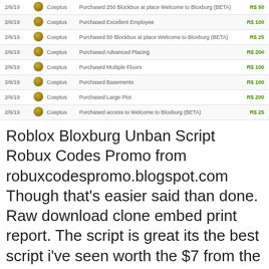| Date |  | User | Description | Price |
| --- | --- | --- | --- | --- |
| 2/6/19 |  | Coeptus | Purchased 250 Blockbux at place Welcome to Bloxburg (BETA) | R$ 50 |
| 2/6/19 |  | Coeptus | Purchased Excellent Employee | R$ 100 |
| 2/6/19 |  | Coeptus | Purchased 50 Blockbux at place Welcome to Bloxburg (BETA) | R$ 25 |
| 2/6/19 |  | Coeptus | Purchased Advanced Placing | R$ 200 |
| 2/6/19 |  | Coeptus | Purchased Multiple Floors | R$ 100 |
| 2/6/19 |  | Coeptus | Purchased Basements | R$ 100 |
| 2/6/19 |  | Coeptus | Purchased Large Plot | R$ 200 |
| 2/6/19 |  | Coeptus | Purchased access to Welcome to Bloxburg (BETA) | R$ 25 |
Roblox Bloxburg Unban Script Robux Codes Promo from robuxcodespromo.blogspot.com Though that's easier said than done. Raw download clone embed print report. The script is great its the best script i've seen worth the $7 from the features, to the support and the, implements off suggestions at such a fast speed, if there's a bug the creators devote their full time into fixing it.
| Date |  | User | Description | Price |
| --- | --- | --- | --- | --- |
| 2/7/19 |  | Coeptus | Purchased 250 Blockbux at place Welcome to Bloxburg (BETA) | R$ 50 |
| 2/7/19 |  | Coeptus | Purchased Unlimited Stamps | R$ 400 |